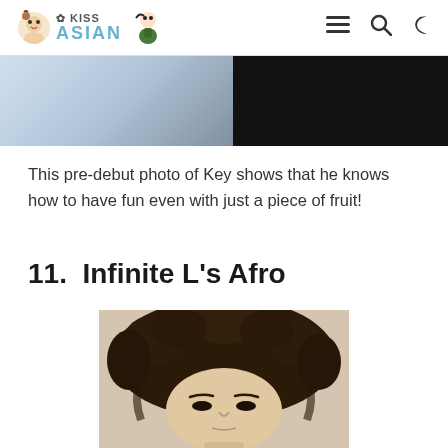KISS ASIAN
[Figure (photo): Partial view of a pre-debut photo of Key from SHINee]
This pre-debut photo of Key shows that he knows how to have fun even with just a piece of fruit!
11. Infinite L's Afro
[Figure (photo): Pre-debut photo of Infinite L (Myungsoo) with a large afro hairstyle as a young person]